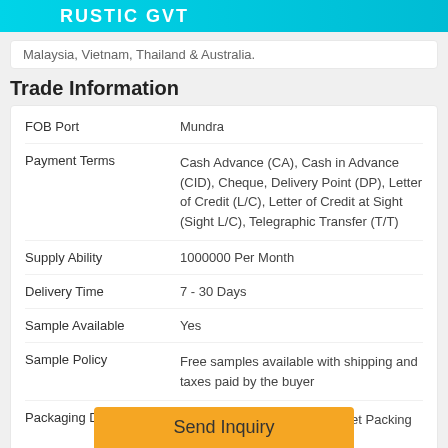RUSTIC GVT
Malaysia, Vietnam, Thailand & Australia.
Trade Information
| Field | Value |
| --- | --- |
| FOB Port | Mundra |
| Payment Terms | Cash Advance (CA), Cash in Advance (CID), Cheque, Delivery Point (DP), Letter of Credit (L/C), Letter of Credit at Sight (Sight L/C), Telegraphic Transfer (T/T) |
| Supply Ability | 1000000 Per Month |
| Delivery Time | 7 - 30 Days |
| Sample Available | Yes |
| Sample Policy | Free samples available with shipping and taxes paid by the buyer |
| Packaging Details | Export Standard Wooden Pallet Packing with Corrugated Box & |
Send Inquiry